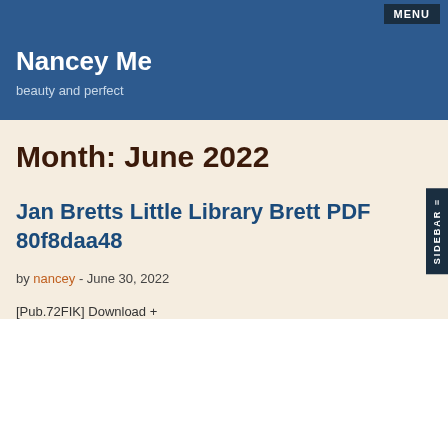MENU
Nancey Me
beauty and perfect
Month: June 2022
Jan Bretts Little Library Brett PDF 80f8daa48
by nancey - June 30, 2022
[Pub.72FIK] Download +